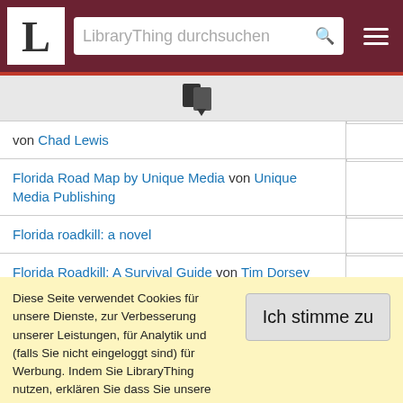LibraryThing durchsuchen
[Figure (logo): LibraryThing book icon with dropdown arrow]
| Buchtitel |  |
| --- | --- |
| von Chad Lewis |  |
| Florida Road Map by Unique Media von Unique Media Publishing |  |
| Florida roadkill: a novel |  |
| Florida Roadkill: A Survival Guide von Tim Dorsey |  |
| Florida roadmap: Including Daytona |  |
Diese Seite verwendet Cookies für unsere Dienste, zur Verbesserung unserer Leistungen, für Analytik und (falls Sie nicht eingeloggt sind) für Werbung. Indem Sie LibraryThing nutzen, erklären Sie dass Sie unsere Nutzungsbedingungen und Datenschutzrichtlinie gelesen und verstanden haben. Die Nutzung unserer Webseite und Dienste unterliegt diesen Richtlinien und Geschäftsbedingungen.